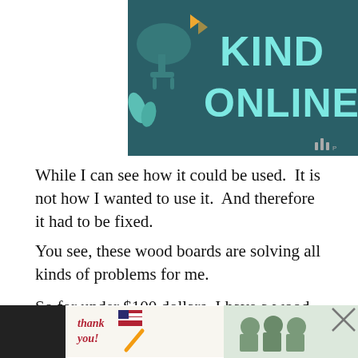[Figure (illustration): Teal/dark teal banner with large light-blue bold text reading 'KIND ONLINE', decorative chair and plants illustration on left, speaker/audio icon on right]
While I can see how it could be used.  It is not how I wanted to use it.  And therefore it had to be fixed.
You see, these wood boards are solving all kinds of problems for me.
So for under $100 dollars, I have a wood planked accent wall, and that beautiful farmhouse vibe I adore.
[Figure (screenshot): Bottom advertisement bar: 'thank you' handwritten note card image on left, group photo of masked healthcare workers in center, Operation Gratitude logo on right, with X close button]